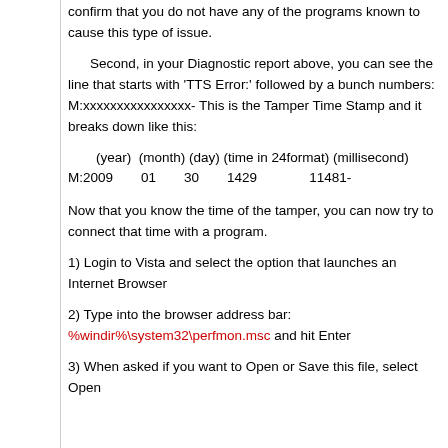confirm that you do not have any of the programs known to cause this type of issue.
Second, in your Diagnostic report above, you can see the line that starts with 'TTS Error:' followed by a bunch numbers: M:xxxxxxxxxxxxxxxx- This is the Tamper Time Stamp and it breaks down like this:
(year)  (month) (day) (time in 24format) (millisecond)
M:2009       01        30        1429                 11481-
Now that you know the time of the tamper, you can now try to connect that time with a program.
1) Login to Vista and select the option that launches an Internet Browser
2) Type into the browser address bar: %windir%\system32\perfmon.msc and hit Enter
3) When asked if you want to Open or Save this file, select Open